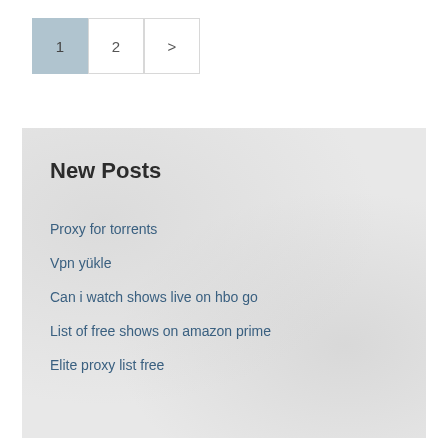1
2
>
New Posts
Proxy for torrents
Vpn yükle
Can i watch shows live on hbo go
List of free shows on amazon prime
Elite proxy list free